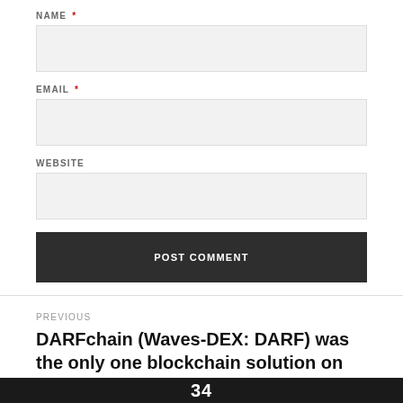NAME *
EMAIL *
WEBSITE
POST COMMENT
PREVIOUS
DARFchain (Waves-DEX: DARF) was the only one blockchain solution on ERP conference “ODOO Experience – 2017”.